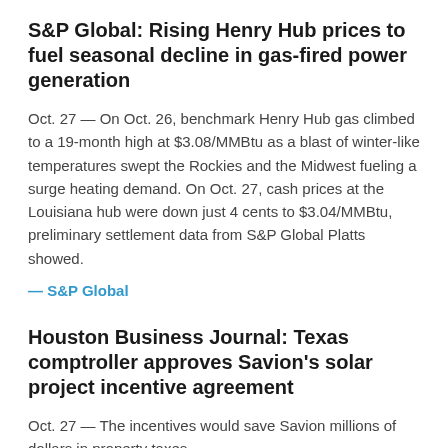S&P Global: Rising Henry Hub prices to fuel seasonal decline in gas-fired power generation
Oct. 27 — On Oct. 26, benchmark Henry Hub gas climbed to a 19-month high at $3.08/MMBtu as a blast of winter-like temperatures swept the Rockies and the Midwest fueling a surge heating demand. On Oct. 27, cash prices at the Louisiana hub were down just 4 cents to $3.04/MMBtu, preliminary settlement data from S&P Global Platts showed.
— S&P Global
Houston Business Journal: Texas comptroller approves Savion's solar project incentive agreement
Oct. 27 — The incentives would save Savion millions of dollars in property taxes.
— Houston Business Journal